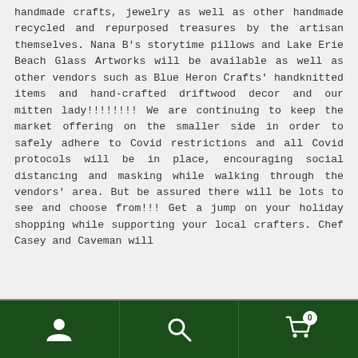handmade crafts, jewelry as well as other handmade recycled and repurposed treasures by the artisan themselves. Nana B's storytime pillows and Lake Erie Beach Glass Artworks will be available as well as other vendors such as Blue Heron Crafts' handknitted items and hand-crafted driftwood decor and our mitten lady!!!!!!!! We are continuing to keep the market offering on the smaller side in order to safely adhere to Covid restrictions and all Covid protocols will be in place, encouraging social distancing and masking while walking through the vendors' area. But be assured there will be lots to see and choose from!!! Get a jump on your holiday shopping while supporting your local crafters. Chef Casey and Caveman will
Navigation bar with person icon, search icon, and cart icon (badge: 0)